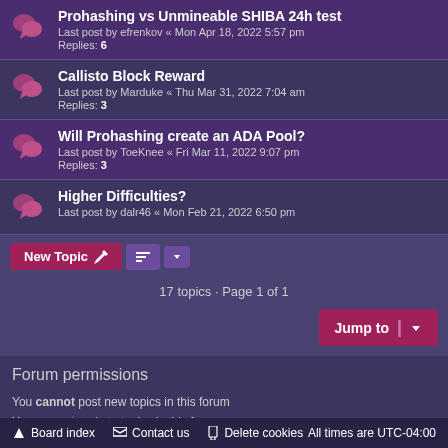Prohashing vs Unmineable SHIBA 24h test
Last post by efrenkov « Mon Apr 18, 2022 5:57 pm
Replies: 6
Callisto Block Reward
Last post by Marduke « Thu Mar 31, 2022 7:04 am
Replies: 3
Will Prohashing create an ADA Pool?
Last post by ToeKnee « Fri Mar 11, 2022 9:07 pm
Replies: 3
Higher Difficulties?
Last post by dalr46 « Mon Feb 21, 2022 6:50 pm
17 topics · Page 1 of 1
Jump to
Forum permissions
You cannot post new topics in this forum
You cannot reply to topics in this forum
You cannot edit your posts in this forum
You cannot delete your posts in this forum
Board index   Contact us   Delete cookies   All times are UTC-04:00